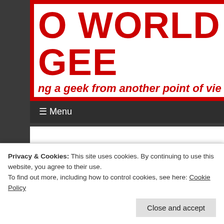O WORLD GEE
ng a geek from another point of vie
≡ Menu
I'll Review Anything: WWE Backlash (2018)
Privacy & Cookies: This site uses cookies. By continuing to use this website, you agree to their use.
To find out more, including how to control cookies, see here: Cookie Policy
Close and accept